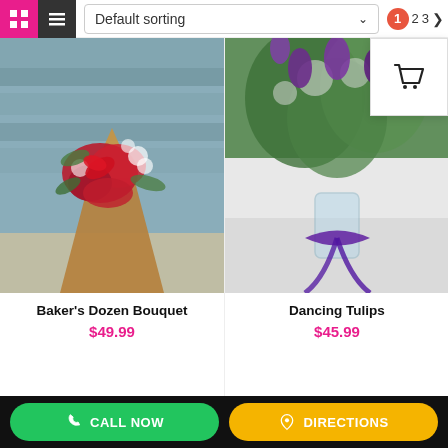[Figure (screenshot): E-commerce florist page showing two product cards with images, names, and prices, along with a top navigation bar with sort dropdown and pagination, and a bottom action bar with Call Now and Directions buttons.]
Default sorting
1  2  3
[Figure (photo): Baker's Dozen Bouquet: red roses wrapped in kraft paper with baby's breath and a red ribbon bow, against a rustic wooden backdrop.]
Baker's Dozen Bouquet
$49.99
[Figure (photo): Dancing Tulips: purple tulips and greenery in a glass vase with a purple ribbon bow on a white surface.]
Dancing Tulips
$45.99
CALL NOW
DIRECTIONS